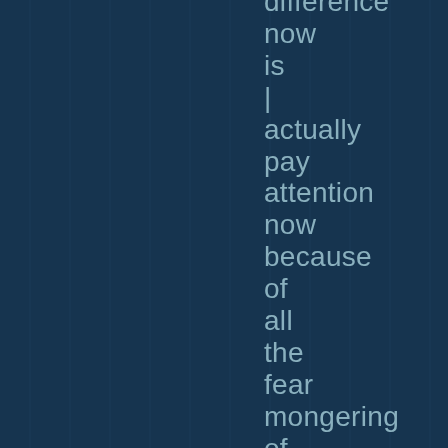difference now is | actually pay attention now because of all the fear mongering of being vegan is unhealthy.